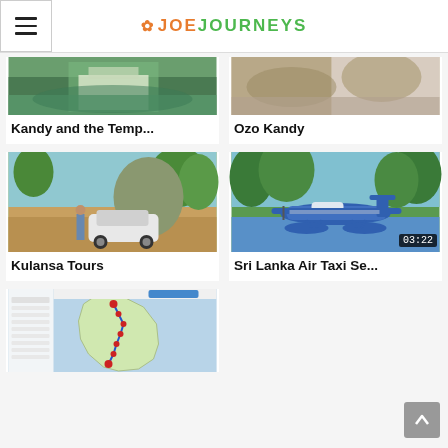JOE JOURNEYS
[Figure (photo): Partial view of lakeside pavilion building in Kandy, Sri Lanka]
Kandy and the Temp...
[Figure (photo): Close-up of wicker/rattan furniture at Ozo Kandy hotel]
Ozo Kandy
[Figure (photo): Man standing next to white Toyota car on dirt road with Sigiriya rock in background]
Kulansa Tours
[Figure (photo): Blue and white seaplane on water surrounded by green trees, video duration 03:22]
Sri Lanka Air Taxi Se...
[Figure (map): Map of Sri Lanka showing route/itinerary with multiple location markers]